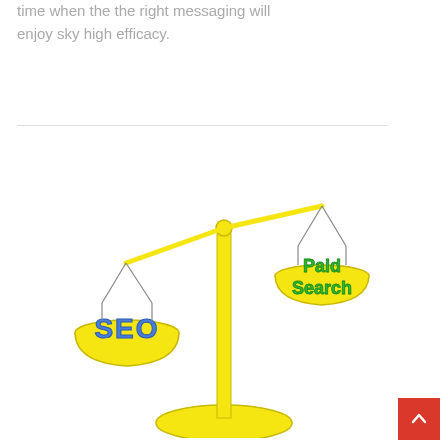time when the the right messaging will enjoy sky high efficacy.
[Figure (illustration): A hand-drawn scale/balance illustration. The central yellow pole supports two pans via strings. The left pan (lower) holds 'SEO' in blue bubbly letters. The right pan (higher) holds 'Paid Search' in green bubbly letters. The base is a yellow mound. Both pans are yellow.]
[Figure (other): Red square scroll-to-top button with a white upward chevron arrow in the bottom right corner.]